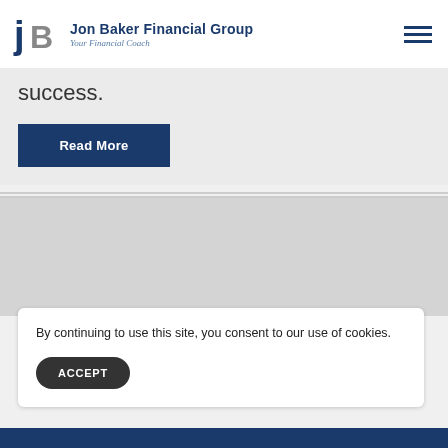Jon Baker Financial Group — Your Financial Coach
success.
Read More
By continuing to use this site, you consent to our use of cookies.
ACCEPT